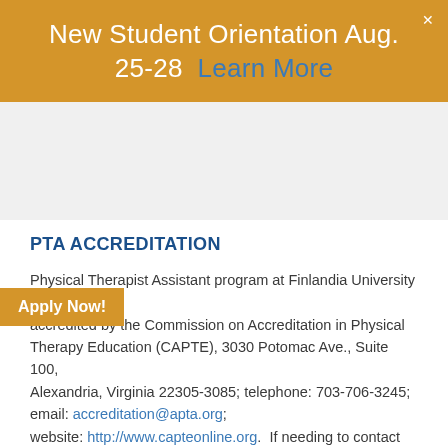New Student Orientation Aug. 25-28  Learn More
PTA ACCREDITATION
Physical Therapist Assistant program at Finlandia University is accredited by the Commission on Accreditation in Physical Therapy Education (CAPTE), 3030 Potomac Ave., Suite 100, Alexandria, Virginia 22305-3085; telephone: 703-706-3245; email: accreditation@apta.org; website: http://www.capteonline.org.  If needing to contact the